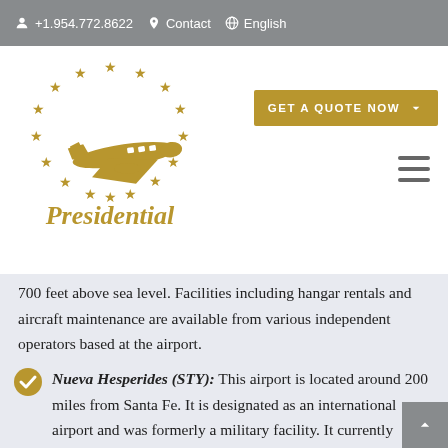+1.954.772.8622  Contact  English
[Figure (logo): Presidential Aviation logo with gold airplane and circle of gold stars, text 'Presidential' in gold]
700 feet above sea level. Facilities including hangar rentals and aircraft maintenance are available from various independent operators based at the airport.
Nueva Hesperides (STY): This airport is located around 200 miles from Santa Fe. It is designated as an international airport and was formerly a military facility. It currently functions as a public airport and sits at an elevation of 187 feet above sea level. It has an asphalt runway measuring 5,200 feet in